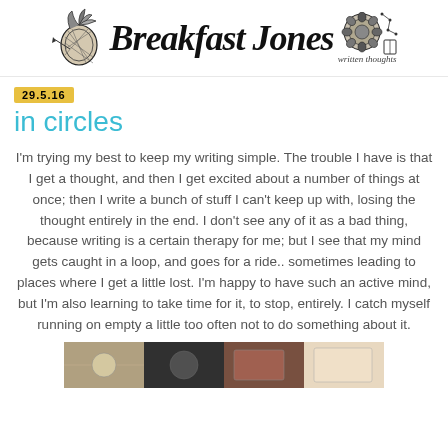Breakfast Jones — written thoughts
29.5.16
in circles
I'm trying my best to keep my writing simple. The trouble I have is that I get a thought, and then I get excited about a number of things at once; then I write a bunch of stuff I can't keep up with, losing the thought entirely in the end. I don't see any of it as a bad thing, because writing is a certain therapy for me; but I see that my mind gets caught in a loop, and goes for a ride.. sometimes leading to places where I get a little lost. I'm happy to have such an active mind, but I'm also learning to take time for it, to stop, entirely. I catch myself running on empty a little too often not to do something about it.
[Figure (photo): Partial view of a photo strip at the bottom of the page showing monochrome/colorful mixed imagery]